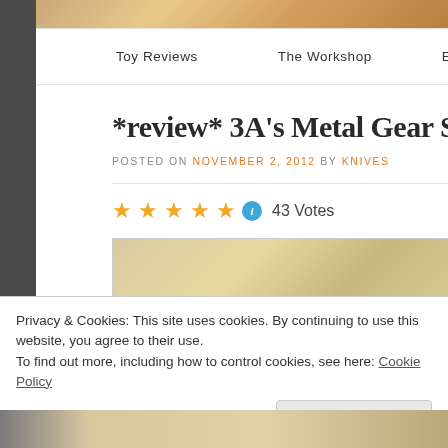[Figure (photo): Partial top banner image with warm orange/gold tones]
Toy Reviews   The Workshop   Events and
*review* 3A's Metal Gear Solid RE…
POSTED ON NOVEMBER 2, 2012 BY KNIVES
★★★★★ ℹ 43 Votes
[Figure (photo): Partial product review image below rating]
Privacy & Cookies: This site uses cookies. By continuing to use this website, you agree to their use.
To find out more, including how to control cookies, see here: Cookie Policy
Close and accept